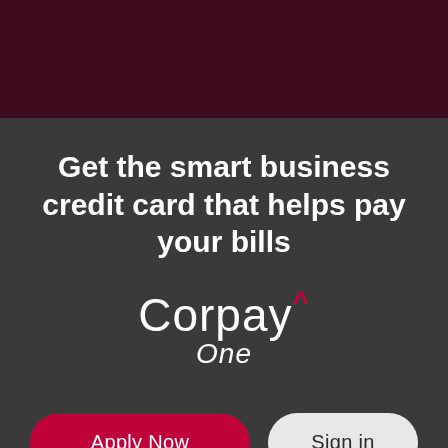[Figure (logo): Dark maroon banner at the top of the page]
Get the smart business credit card that helps pay your bills
[Figure (logo): Corpay One logo with caret symbol in red above 'One' in italic]
Apply Now
Sign in